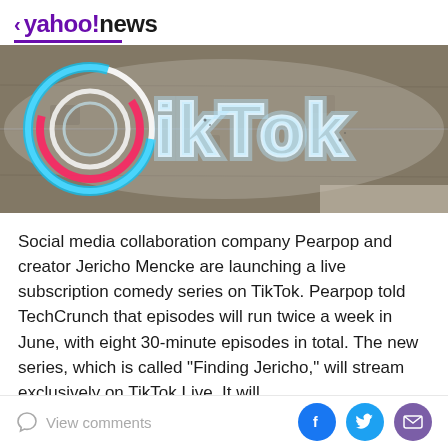< yahoo!news
[Figure (photo): TikTok neon sign logo on a concrete wall background, showing the TikTok icon (circular arrows in blue and pink) and partial TikTok text in glowing white neon lights]
Social media collaboration company Pearpop and creator Jericho Mencke are launching a live subscription comedy series on TikTok. Pearpop told TechCrunch that episodes will run twice a week in June, with eight 30-minute episodes in total. The new series, which is called "Finding Jericho," will stream exclusively on TikTok Live. It will
View comments